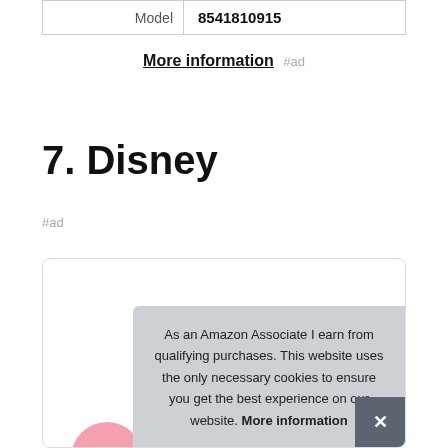| Model | 8541810915 |
More information #ad
7. Disney
#ad
As an Amazon Associate I earn from qualifying purchases. This website uses the only necessary cookies to ensure you get the best experience on our website. More information